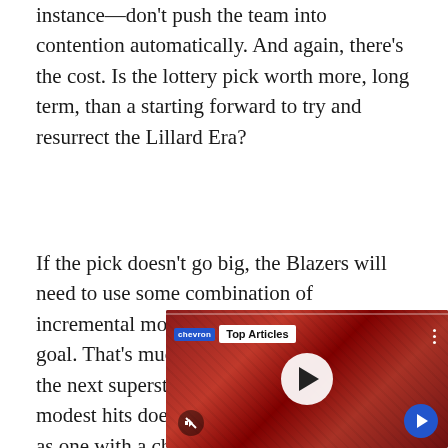instance—don't push the team into contention automatically. And again, there's the cost. Is the lottery pick worth more, long term, than a starting forward to try and resurrect the Lillard Era?
If the pick doesn't go big, the Blazers will need to use some combination of incremental moves to achieve the same goal. That's much harder than just drafting the next superstar. An album with three modest hits does not get the same attention as one with a chart-topping rocket.
[Figure (screenshot): Embedded video player showing football players in red uniforms, with a 'Top Articles' badge in the upper left, a white circular play button in the center, a mute icon in the lower left, and a blue circular arrow button in the lower right.]